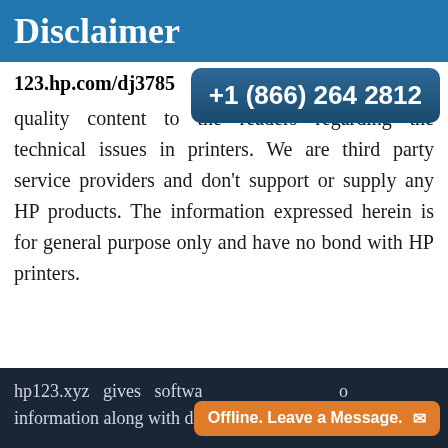Disclaimer
123.hp.com/dj3785  +1 (866) 264 2812
quality content to the readers regarding the technical issues in printers. We are third party service providers and don't support or supply any HP products. The information expressed herein is for general purpose only and have no bond with HP printers.
hp123.xyz gives softwa... o information along with de...